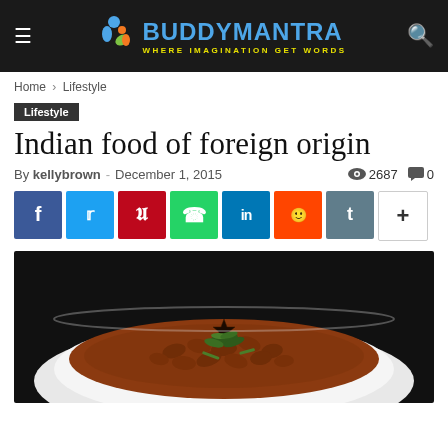BuddyMantra — WHERE IMAGINATION GET WORDS
Home › Lifestyle
Lifestyle
Indian food of foreign origin
By kellybrown - December 1, 2015  👁 2687  💬 0
[Figure (infographic): Social share buttons: Facebook, Twitter, Pinterest, WhatsApp, LinkedIn, Reddit, Tumblr, More]
[Figure (photo): Close-up photo of a white bowl filled with rajma (kidney bean curry) garnished with green herbs and spices on a dark background]